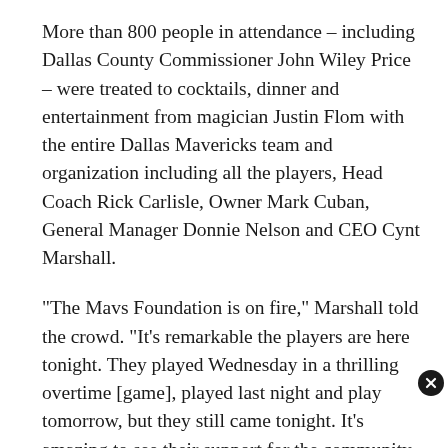More than 800 people in attendance – including Dallas County Commissioner John Wiley Price – were treated to cocktails, dinner and entertainment from magician Justin Flom with the entire Dallas Mavericks team and organization including all the players, Head Coach Rick Carlisle, Owner Mark Cuban, General Manager Donnie Nelson and CEO Cynt Marshall.
"The Mavs Foundation is on fire," Marshall told the crowd. "It's remarkable the players are here tonight. They played Wednesday in a thrilling overtime [game], played last night and play tomorrow, but they still came tonight. It's amazing to see their support for the community and our organization."
While from... [partial line cut off]